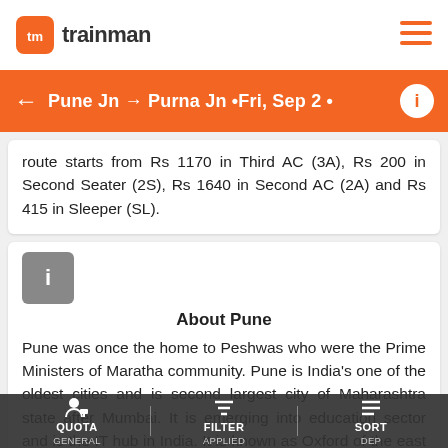tm trainman
Pune Jn → Purna Jn • Fri, Sep 2 •
route starts from Rs 1170 in Third AC (3A), Rs 200 in Second Seater (2S), Rs 1640 in Second AC (2A) and Rs 415 in Sleeper (SL).
About Pune
Pune was once the home to Peshwas who were the Prime Ministers of Maratha community. Pune is India's one of the oldest cities and is second largest city of Maharashtra state after Mumbai. It is emerging into education sector and is the IT hub in India. It is known as Oxford of the east due to the presence of 9 universities and over 100 colleges. Pune is also known to have largest number of two-wheelers in the country. It is surrounded by hills, forts and water bodies.
QUOTA GENERAL   FILTER APPLIED   SORT DEP